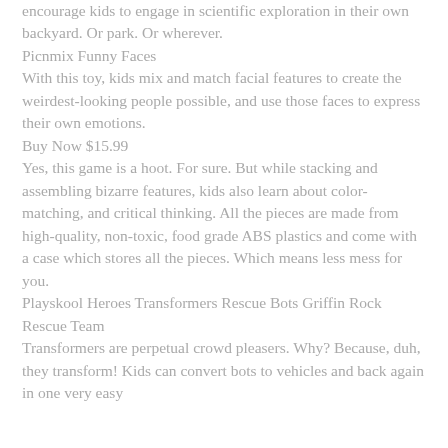encourage kids to engage in scientific exploration in their own backyard. Or park. Or wherever.
Picnmix Funny Faces
With this toy, kids mix and match facial features to create the weirdest-looking people possible, and use those faces to express their own emotions.
Buy Now $15.99
Yes, this game is a hoot. For sure. But while stacking and assembling bizarre features, kids also learn about color-matching, and critical thinking. All the pieces are made from high-quality, non-toxic, food grade ABS plastics and come with a case which stores all the pieces. Which means less mess for you.
Playskool Heroes Transformers Rescue Bots Griffin Rock Rescue Team
Transformers are perpetual crowd pleasers. Why? Because, duh, they transform! Kids can convert bots to vehicles and back again in one very easy